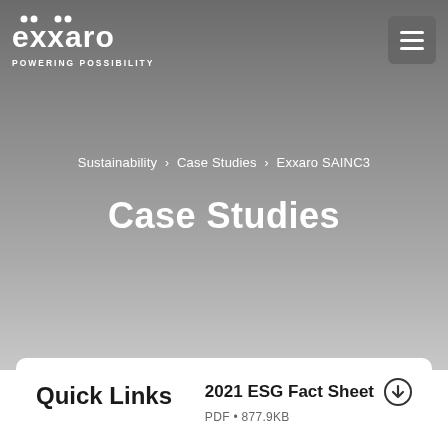[Figure (logo): Exxaro logo — two dots above 'e' and first 'x', text reads 'exxaro' in bold white, tagline 'POWERING POSSIBILITY' beneath]
Sustainability > Case Studies > Exxaro SAINC3
Case Studies
Quick Links
2021 ESG Fact Sheet
PDF • 877.9KB